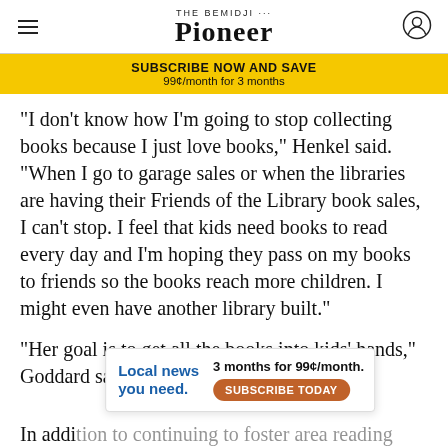The Bemidji Pioneer
SUBSCRIBE NOW AND SAVE
99¢/month for 3 months
"I don't know how I'm going to stop collecting books because I just love books," Henkel said. "When I go to garage sales or when the libraries are having their Friends of the Library book sales, I can't stop. I feel that kids need books to read every day and I'm hoping they pass on my books to friends so the books reach more children. I might even have another library built."
"Her goal is to get all the books into kids' hands," Goddard said.
[Figure (infographic): Advertisement overlay: 'Local news you need.' with '3 months for 99¢/month.' and 'SUBSCRIBE TODAY' button in orange]
In addition to continuing to foster area reading